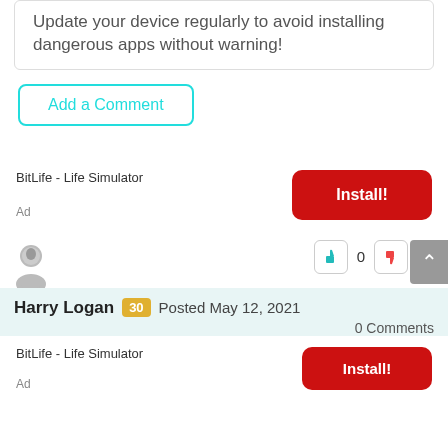Update your device regularly to avoid installing dangerous apps without warning!
Add a Comment
[Figure (infographic): Ad banner: BitLife - Life Simulator with red Install! button]
[Figure (illustration): User avatar (gray silhouette), thumbs up button, 0 vote count, thumbs down button, scroll-to-top button]
Harry Logan 30 Posted May 12, 2021
0 Comments
[Figure (infographic): Ad banner: BitLife - Life Simulator with red Install! button (second instance)]